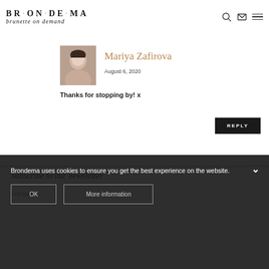BRONDEMA brunette on demand
[Figure (photo): Author avatar photo of Mariya Zafirova, a woman looking down]
Mariya Zafirova
August 6, 2020
Thanks for stopping by! x
REPLY
Subscribe to our newsletter
First name...
Brondema uses cookies to ensure you get the best experience on the website.
OK
More information